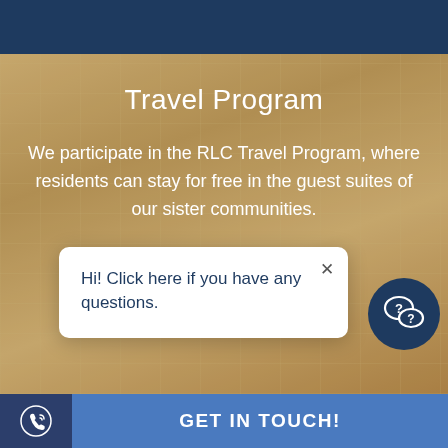Travel Program
We participate in the RLC Travel Program, where residents can stay for free in the guest suites of our sister communities.
Learn More
Hi! Click here if you have any questions.
GET IN TOUCH!